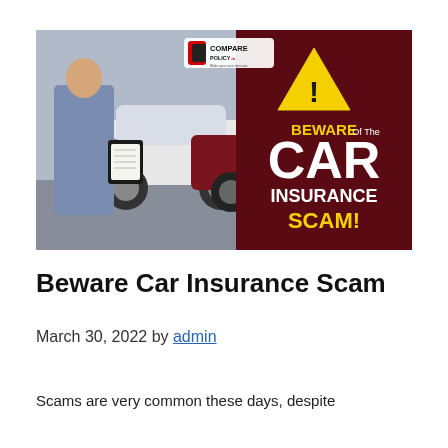[Figure (illustration): Promotional banner image for car insurance scam awareness. Left side shows a man in a blue shirt writing on a clipboard near white and red cars. Right side on dark maroon background shows a yellow warning triangle with exclamation mark, and text: 'BEWARE Of The CAR INSURANCE SCAM!' in bold white and yellow letters. ComparePolicy.com logo in top center.]
Beware Car Insurance Scam
March 30, 2022 by admin
Scams are very common these days, despite